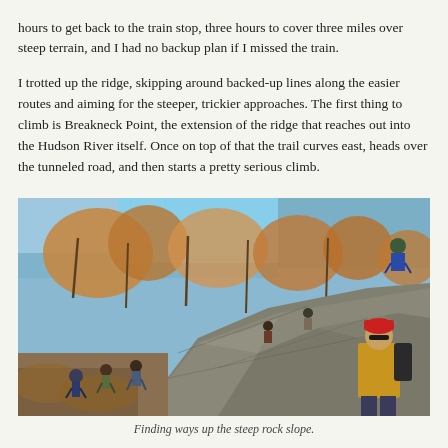hours to get back to the train stop, three hours to cover three miles over steep terrain, and I had no backup plan if I missed the train.
I trotted up the ridge, skipping around backed-up lines along the easier routes and aiming for the steeper, trickier approaches. The first thing to climb is Breakneck Point, the extension of the ridge that reaches out into the Hudson River itself. Once on top of that the trail curves east, heads over the tunneled road, and then starts a pretty serious climb.
[Figure (photo): People climbing a steep rocky slope on a trail at Breakneck Point. A man in a red hat and yellow jacket is visible in the foreground on the right. Other hikers are visible scaling the rock face. Trees with autumn foliage and bare branches are in the background with a blue sky visible.]
Finding ways up the steep rock slope.